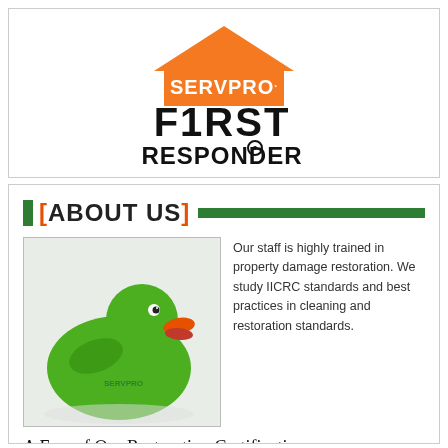[Figure (logo): SERVPRO First Responder Bowl logo with orange house shape, black bold text 'F1RST RESPONDER BOWL' and blue/red color bars]
[ABOUT US]
[Figure (photo): Green rubber duck toy with orange beak, SERVPRO branding on its body, photographed on white/grey background]
Our staff is highly trained in property damage restoration. We study IICRC standards and best practices in cleaning and restoration standards.
A Few of Our Restoration Certifications
AMRT - Applied Microbial Remediation Technician